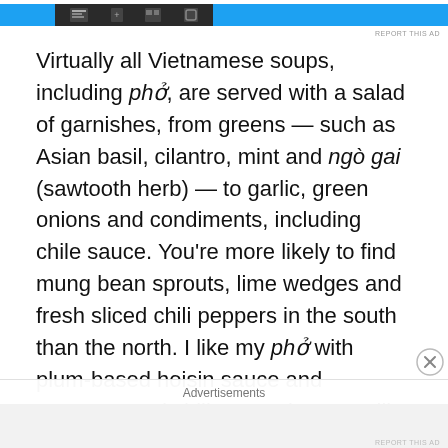[Figure (screenshot): Advertisement banner with blue sections and a dark toolbar in the center, with 'REPORT THIS AD' text below.]
Virtually all Vietnamese soups, including phở, are served with a salad of garnishes, from greens — such as Asian basil, cilantro, mint and ngò gai (sawtooth herb) — to garlic, green onions and condiments, including chile sauce. You're more likely to find mung bean sprouts, lime wedges and fresh sliced chili peppers in the south than the north. I like my phở with plum-based hoisin sauce and unsweetened chili sauce, but I'm still not accustomed to the sweet tương ớt chili sauce popular in Ho Chi Minh City.

Chopsticks and a deep spoon are de rigueur. Diners dip
Advertisements